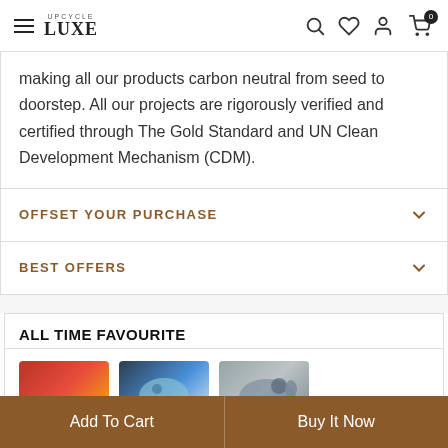UPCYCLE LUXE — navigation header with hamburger menu, logo, search, wishlist, account, and cart icons
making all our products carbon neutral from seed to doorstep. All our projects are rigorously verified and certified through The Gold Standard and UN Clean Development Mechanism (CDM).
OFFSET YOUR PURCHASE
BEST OFFERS
ALL TIME FAVOURITE
[Figure (photo): Three product thumbnails: a red/orange cushion, a blue elephant toy pack, and a grey elephant stuffed toy]
Add To Cart | Buy It Now